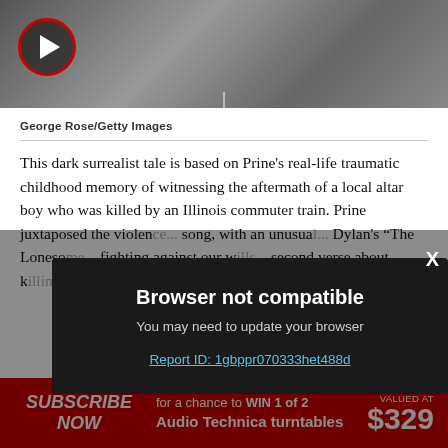[Figure (photo): Black and white photo of a person, partially visible, with a red-circled play button overlay at top left and a vertical line at the bottom center]
George Rose/Getty Images
This dark surrealist tale is based on Prine's real-life traumatic childhood memory of witnessing the aftermath of a local altar boy who was killed by an Illinois commuter train. Prine juxtaposed the violen[ce of the] song, with an unusua[l melody like] Dylan's "The Loneso[me Death of] fighting against our w[ills... the] second verse about k[illing...] "My head shouted do[wn] below,'" he sang. "W[e can't] [all f...]
[Figure (screenshot): Modal dialog overlay with dark background showing 'Browser not compatible' message, subtitle 'You may need to update your browser', a report ID link, and an X close button]
Browser not compatible
You may need to update your browser
Report ID: 1gbppr070333het488d
[Figure (other): Red advertisement banner: SUBSCRIBE NOW for a chance to WIN 1 of 2 Audio Technica turntables VALUED AT $329]